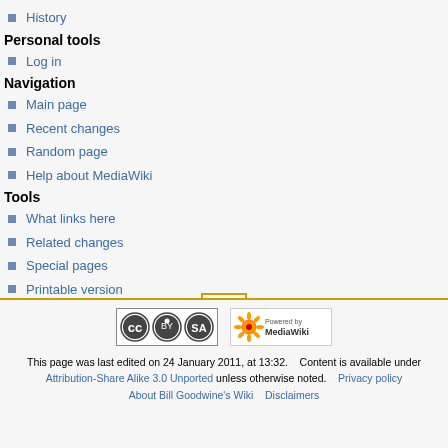History
Personal tools
Log in
Navigation
Main page
Recent changes
Random page
Help about MediaWiki
Tools
What links here
Related changes
Special pages
Printable version
Permanent link
Page information
[Figure (other): Scroll to top button with upward triangle arrow, gold border]
[Figure (logo): Creative Commons Attribution-Share Alike license badge]
[Figure (logo): Powered by MediaWiki badge]
This page was last edited on 24 January 2011, at 13:32. Content is available under Attribution-Share Alike 3.0 Unported unless otherwise noted. Privacy policy About Bill Goodwine's Wiki Disclaimers